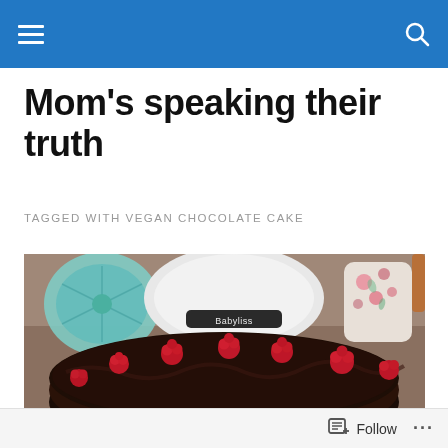Nav bar with hamburger menu and search icon
Mom's speaking their truth
TAGGED WITH VEGAN CHOCOLATE CAKE
[Figure (photo): Chocolate cake topped with fresh raspberries arranged around the edge, with kitchen appliances visible in the background including a turquoise fan and a white appliance with Babyliss branding]
Follow ...